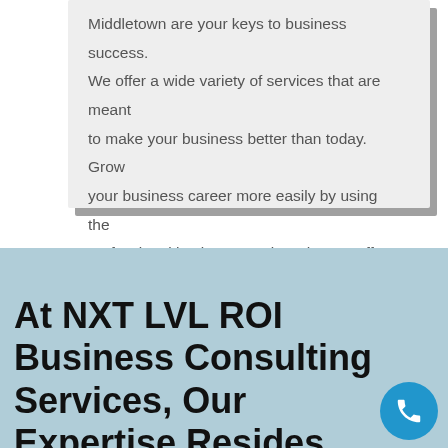Middletown are your keys to business success. We offer a wide variety of services that are meant to make your business better than today. Grow your business career more easily by using the professional business services that we offer.
At NXT LVL ROI Business Consulting Services, Our Expertise Resides Within